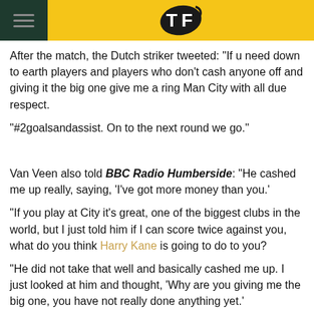TF (Transfer Feed logo)
After the match, the Dutch striker tweeted: "If u need down to earth players and players who don't cash anyone off and giving it the big one give me a ring Man City with all due respect.
"#2goalsandassist. On to the next round we go."
Van Veen also told BBC Radio Humberside: "He cashed me up really, saying, 'I've got more money than you.'
"If you play at City it's great, one of the biggest clubs in the world, but I just told him if I can score twice against you, what do you think Harry Kane is going to do to you?
"He did not take that well and basically cashed me up. I just looked at him and thought, 'Why are you giving me the big one, you have not really done anything yet.'